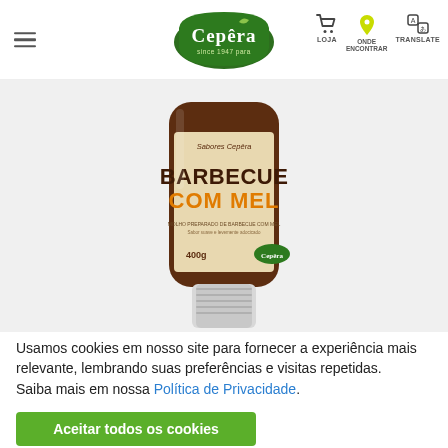Cepêra — navigation header with logo, hamburger menu, LOJA, ONDE ENCONTRAR, TRANSLATE icons
[Figure (photo): Cepêra Barbecue com Mel sauce bottle (400g), dark brown squeeze bottle with label showing BARBECUE COM MEL in large lettering, orange honey accent text, on a light grey background]
Usamos cookies em nosso site para fornecer a experiência mais relevante, lembrando suas preferências e visitas repetidas.
Saiba mais em nossa Política de Privacidade.
Aceitar todos os cookies